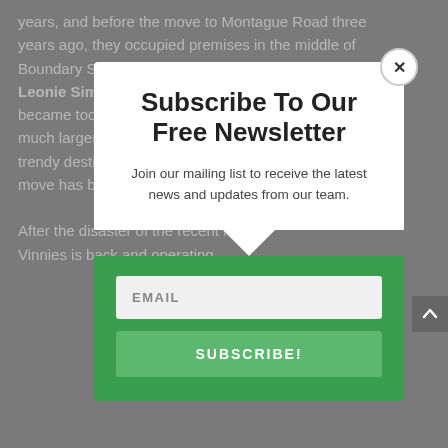years, and before the move to Montague Road three years ago, they occupied premises in the middle of Boundary Street. Vinnies' West End Coordinator, Leonie Simpson, said the Boundary Street shop became too small for the West End population. The much larger Montague Road premises is now a trendy destination store. Statewide, she thinks the move has been positive for the community. After the disaster of the recent flood, Vinnies is back and operating.
Subscribe To Our Free Newsletter
Join our mailing list to receive the latest news and updates from our team.